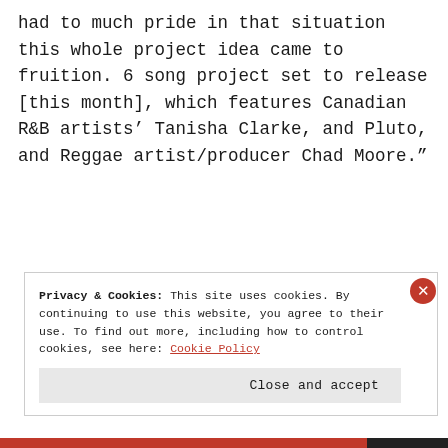had to much pride in that situation this whole project idea came to fruition. 6 song project set to release [this month], which features Canadian R&B artists’ Tanisha Clarke, and Pluto, and Reggae artist/producer Chad Moore.”
Privacy & Cookies: This site uses cookies. By continuing to use this website, you agree to their use. To find out more, including how to control cookies, see here: Cookie Policy
Close and accept